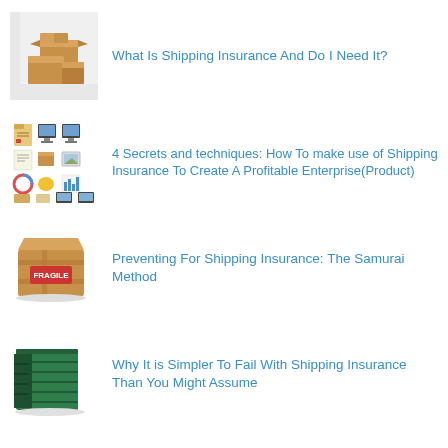[Figure (photo): Cardboard boxes stacked and open, against a light background]
What Is Shipping Insurance And Do I Need It?
[Figure (illustration): Grid of small icons representing documents, monitors, images, charts, and other business/productivity symbols]
4 Secrets and techniques: How To make use of Shipping Insurance To Create A Profitable Enterprise(Product)
[Figure (photo): A brown cardboard box wrapped in tape with a FRAGILE label sticker]
Preventing For Shipping Insurance: The Samurai Method
[Figure (photo): A green metal storage container or shed with open door]
Why It is Simpler To Fail With Shipping Insurance Than You Might Assume